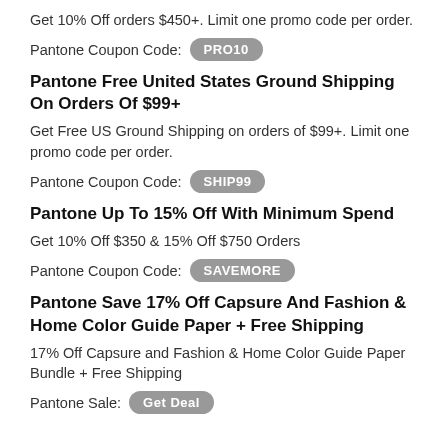Get 10% Off orders $450+. Limit one promo code per order.
Pantone Coupon Code: PRO10
Pantone Free United States Ground Shipping On Orders Of $99+
Get Free US Ground Shipping on orders of $99+. Limit one promo code per order.
Pantone Coupon Code: SHIP99
Pantone Up To 15% Off With Minimum Spend
Get 10% Off $350 & 15% Off $750 Orders
Pantone Coupon Code: SAVEMORE
Pantone Save 17% Off Capsure And Fashion & Home Color Guide Paper + Free Shipping
17% Off Capsure and Fashion & Home Color Guide Paper Bundle + Free Shipping
Pantone Sale: Get Deal